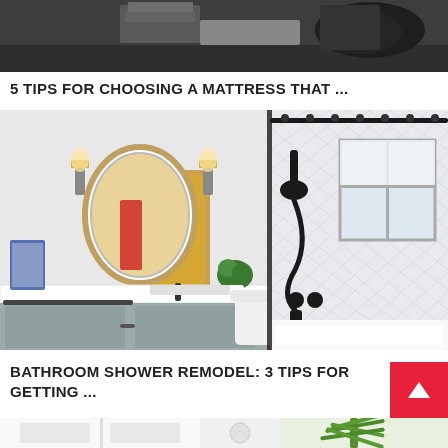[Figure (photo): Partial view of a bedroom/mattress with dark bedding and dark colored objects, cropped at top]
5 TIPS FOR CHOOSING A MATTRESS THAT ...
[Figure (photo): Bathroom photo showing a round mirror, vanity with white countertop, small plant, toilet, and tiled shower/tub with herringbone patterned walls]
BATHROOM SHOWER REMODEL: 3 TIPS FOR GETTING ...
[Figure (photo): Partial view of a bathroom with white shelving and a large green plant, cropped at bottom]